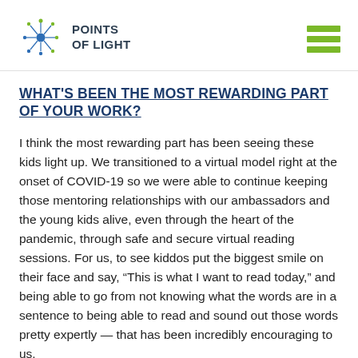POINTS OF LIGHT
WHAT'S BEEN THE MOST REWARDING PART OF YOUR WORK?
I think the most rewarding part has been seeing these kids light up. We transitioned to a virtual model right at the onset of COVID-19 so we were able to continue keeping those mentoring relationships with our ambassadors and the young kids alive, even through the heart of the pandemic, through safe and secure virtual reading sessions. For us, to see kiddos put the biggest smile on their face and say, “This is what I want to read today,” and being able to go from not knowing what the words are in a sentence to being able to read and sound out those words pretty expertly — that has been incredibly encouraging to us.